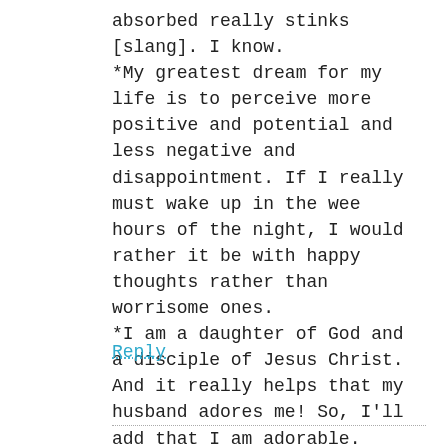absorbed really stinks [slang]. I know.
*My greatest dream for my life is to perceive more positive and potential and less negative and disappointment. If I really must wake up in the wee hours of the night, I would rather it be with happy thoughts rather than worrisome ones.
*I am a daughter of God and a disciple of Jesus Christ. And it really helps that my husband adores me! So, I'll add that I am adorable.
Reply